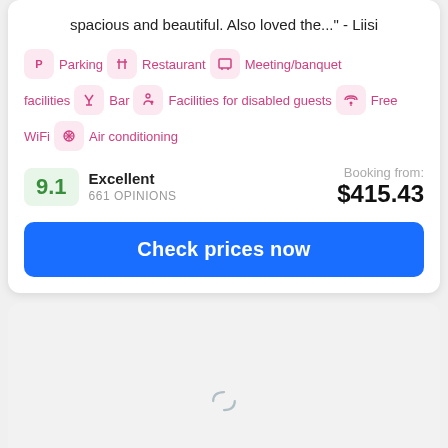We stayed at the Executive room, which was very spacious and beautiful. Also loved the..." - Liisi
Parking
Restaurant
Meeting/banquet facilities
Bar
Facilities for disabled guests
Free WiFi
Air conditioning
Excellent 661 OPINIONS
Booking from: $415.43
Check prices now
[Figure (other): Loading spinner / placeholder for a map or image section]